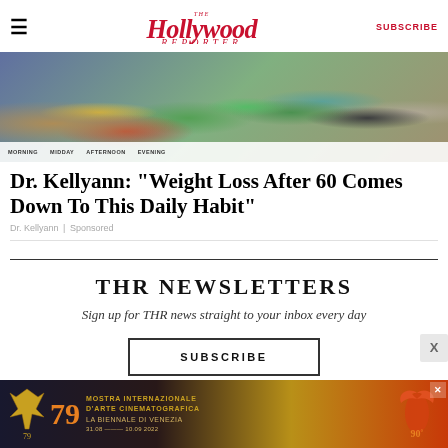≡   The Hollywood Reporter   SUBSCRIBE
[Figure (photo): Photo of a cooking/food preparation scene on a TV show set, with various foods including tomatoes, greens, a green smoothie, and kitchen appliances on a counter. Tags at the bottom partially visible.]
Dr. Kellyann: "Weight Loss After 60 Comes Down To This Daily Habit"
Dr. Kellyann | Sponsored
THR NEWSLETTERS
Sign up for THR news straight to your inbox every day
SUBSCRIBE
[Figure (photo): Advertisement banner for Mostra Internazionale d'Arte Cinematografica La Biennale di Venezia (Venice Film Festival). Shows the number 79, a winged lion logo, a phoenix/bird illustration, the number 90 with degree symbol, and dates 31.08 — 10.09.2022. Dark background with gold and orange text.]